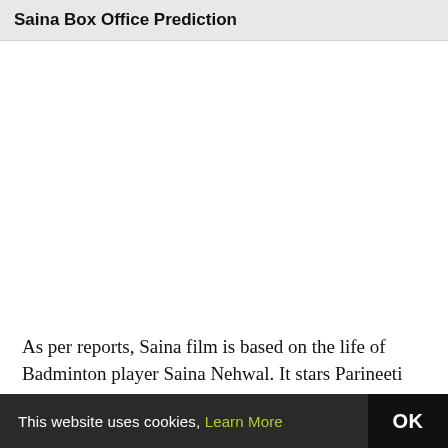Saina Box Office Prediction
As per reports, Saina film is based on the life of Badminton player Saina Nehwal. It stars Parineeti
This website uses cookies, Learn More  OK